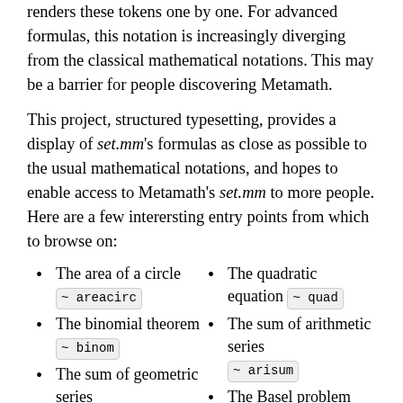renders these tokens one by one. For advanced formulas, this notation is increasingly diverging from the classical mathematical notations. This may be a barrier for people discovering Metamath.
This project, structured typesetting, provides a display of set.mm's formulas as close as possible to the usual mathematical notations, and hopes to enable access to Metamath's set.mm to more people. Here are a few interersting entry points from which to browse on:
The area of a circle ~ areacirc
The quadratic equation ~ quad
The binomial theorem ~ binom
The sum of arithmetic series ~ arisum
The sum of geometric series ~ geoser
The Basel problem ~ basel
The mean value theorem ~ mvth
Stirling's formula ~ stirling